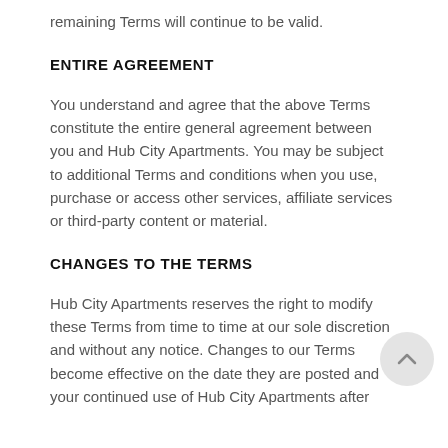remaining Terms will continue to be valid.
ENTIRE AGREEMENT
You understand and agree that the above Terms constitute the entire general agreement between you and Hub City Apartments. You may be subject to additional Terms and conditions when you use, purchase or access other services, affiliate services or third-party content or material.
CHANGES TO THE TERMS
Hub City Apartments reserves the right to modify these Terms from time to time at our sole discretion and without any notice. Changes to our Terms become effective on the date they are posted and your continued use of Hub City Apartments after